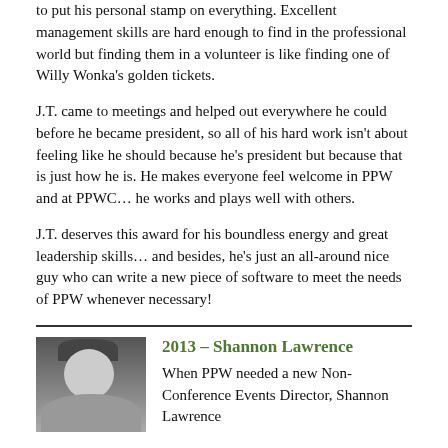to put his personal stamp on everything. Excellent management skills are hard enough to find in the professional world but finding them in a volunteer is like finding one of Willy Wonka's golden tickets.
J.T. came to meetings and helped out everywhere he could before he became president, so all of his hard work isn't about feeling like he should because he's president but because that is just how he is. He makes everyone feel welcome in PPW and at PPWC… he works and plays well with others.
J.T. deserves this award for his boundless energy and great leadership skills… and besides, he's just an all-around nice guy who can write a new piece of software to meet the needs of PPW whenever necessary!
2013 – Shannon Lawrence
[Figure (photo): Black and white headshot photo of Shannon Lawrence]
When PPW needed a new Non-Conference Events Director, Shannon Lawrence